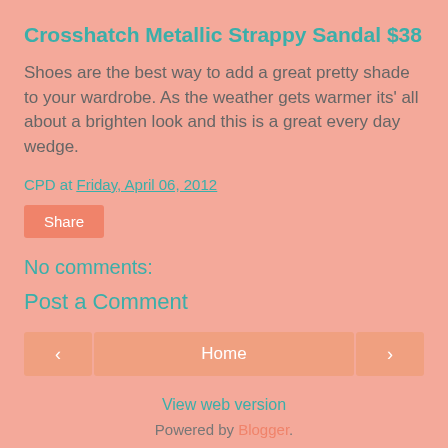Crosshatch Metallic Strappy Sandal $38
Shoes are the best way to add a great pretty shade to your wardrobe. As the weather gets warmer its' all about a brighten look and this is a great every day wedge.
CPD at Friday, April 06, 2012
Share
No comments:
Post a Comment
< Home > View web version Powered by Blogger.